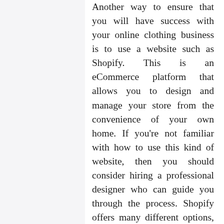Another way to ensure that you will have success with your online clothing business is to use a website such as Shopify. This is an eCommerce platform that allows you to design and manage your store from the convenience of your own home. If you're not familiar with how to use this kind of website, then you should consider hiring a professional designer who can guide you through the process. Shopify offers many different options, including categories, layouts, shopping carts, payment options, and